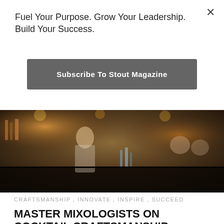×
Fuel Your Purpose. Grow Your Leadership. Build Your Success.
Subscribe To Stout Magazine
[Figure (photo): Bar scene with bartender and patrons, warm ambient lighting, cocktail bottles on bar top]
CRAFTSMANSHIP , INNOVATE , INSPIRE , SUCCEED
MASTER MIXOLOGISTS ON COCKTAIL CRAFTSMANSHIP
Cheers to creativity and craftsmanship, cocktail style – what inspires the makers of those great custom drinks.
[Figure (photo): Dark atmospheric photo with warm orange/amber glow, appears to be a candle or flame in a bar setting]